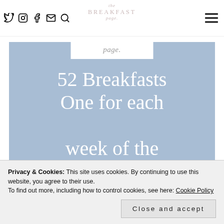Navigation bar with social icons (Twitter, Instagram, Facebook, Email, Search), The Breakfast Page logo, and hamburger menu
[Figure (illustration): Blue book cover with white card at top reading 'page.' and large white script text: '52 Breakfasts One for each week of the year']
Privacy & Cookies: This site uses cookies. By continuing to use this website, you agree to their use. To find out more, including how to control cookies, see here: Cookie Policy
Close and accept